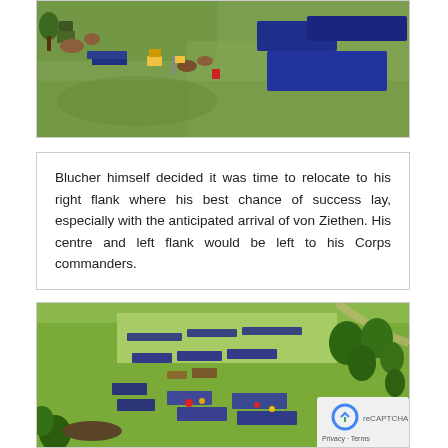[Figure (photo): Aerial view of miniature wargaming battle scene with small painted figurines on a green grass mat, showing cavalry and infantry formations.]
Blucher himself decided it was time to relocate to his right flank where his best chance of success lay, especially with the anticipated arrival of von Ziethen. His centre and left flank would be left to his Corps commanders.
[Figure (photo): Wide aerial view of a large miniature wargaming battle scene on a green terrain board with trees, showing many infantry and cavalry unit formations deployed across the field.]